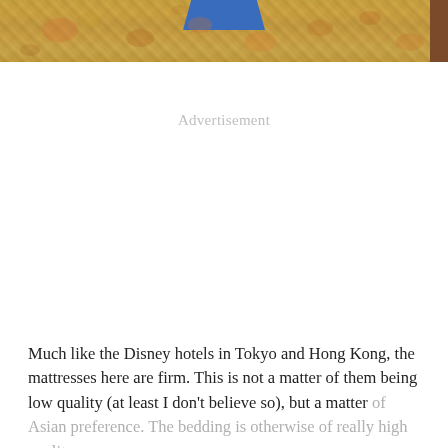[Figure (photo): Partial view of an ornate floral-patterned carpet/bedspread in warm gold, orange and green tones, with a blue fabric element visible at top and a dark wooden furniture piece at right edge.]
Advertisement
Much like the Disney hotels in Tokyo and Hong Kong, the mattresses here are firm. This is not a matter of them being low quality (at least I don’t believe so), but a matter of Asian preference. The bedding is otherwise of really high quality.